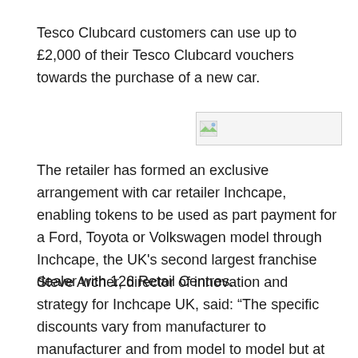Tesco Clubcard customers can use up to £2,000 of their Tesco Clubcard vouchers towards the purchase of a new car.
[Figure (photo): Broken image placeholder icon]
The retailer has formed an exclusive arrangement with car retailer Inchcape, enabling tokens to be used as part payment for a Ford, Toyota or Volkswagen model through Inchcape, the UK's second largest franchise dealer with 126 Retail Centres.
Steve Archer, director of innovation and strategy for Inchcape UK, said: “The specific discounts vary from manufacturer to manufacturer and from model to model but at launch of the partnership they are up to